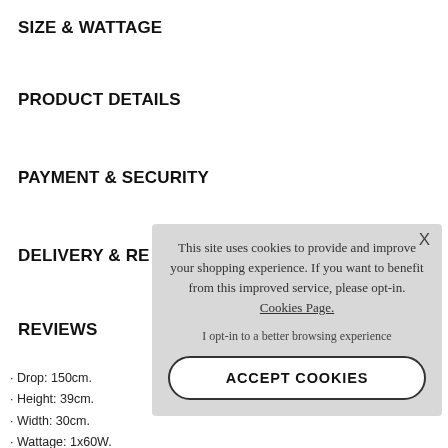SIZE & WATTAGE
PRODUCT DETAILS
PAYMENT & SECURITY
DELIVERY & RE...
REVIEWS
• Drop: 150cm.
• Height: 39cm.
• Width: 30cm.
• Wattage: 1x60W.
• Dimmable: (wher...
• Socket/Bulb: ES/E27.
This site uses cookies to provide and improve your shopping experience. If you want to benefit from this improved service, please opt-in. Cookies Page.
I opt-in to a better browsing experience
ACCEPT COOKIES